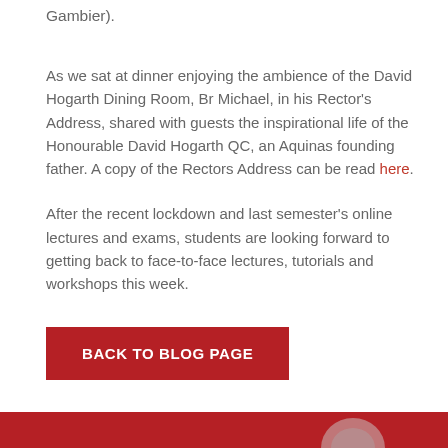Gambier).
As we sat at dinner enjoying the ambience of the David Hogarth Dining Room, Br Michael, in his Rector's Address, shared with guests the inspirational life of the Honourable David Hogarth QC, an Aquinas founding father. A copy of the Rectors Address can be read here.
After the recent lockdown and last semester's online lectures and exams, students are looking forward to getting back to face-to-face lectures, tutorials and workshops this week.
BACK TO BLOG PAGE